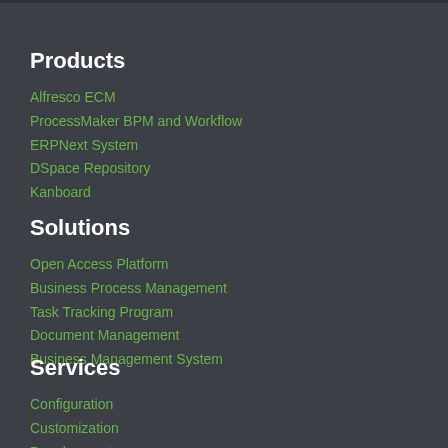Products
Alfresco ECM
ProcessMaker BPM and Workflow
ERPNext System
DSpace Repository
Kanboard
Solutions
Open Access Platform
Business Process Management
Task Tracking Program
Document Management
Business Management System
Services
Configuration
Customization
Development